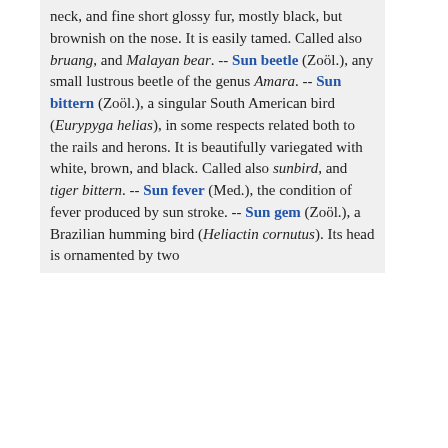neck, and fine short glossy fur, mostly black, but brownish on the nose. It is easily tamed. Called also bruang, and Malayan bear. -- Sun beetle (Zoöl.), any small lustrous beetle of the genus Amara. -- Sun bittern (Zoöl.), a singular South American bird (Eurypyga helias), in some respects related both to the rails and herons. It is beautifully variegated with white, brown, and black. Called also sunbird, and tiger bittern. -- Sun fever (Med.), the condition of fever produced by sun stroke. -- Sun gem (Zoöl.), a Brazilian humming bird (Heliactin cornutus). Its head is ornamented by two